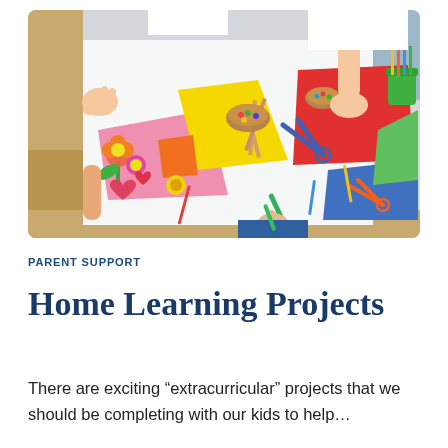[Figure (photo): Overhead view of children doing arts and crafts at a white table, with colorful paper cutouts, scissors, craft sticks, markers, and decorative materials spread across the surface.]
PARENT SUPPORT
Home Learning Projects
There are exciting “extracurricular” projects that we should be completing with our kids to help…